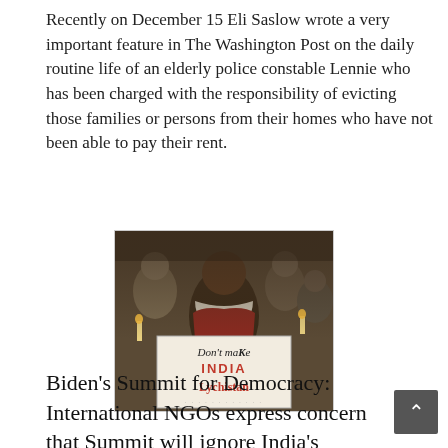Recently on December 15 Eli Saslow wrote a very important feature in The Washington Post on the daily routine life of an elderly police constable Lennie who has been charged with the responsibility of evicting those families or persons from their homes who have not been able to pay their rent.
[Figure (photo): A young man holding a protest sign reading 'Don't make INDIA Lychistan' surrounded by other protesters holding candles at night.]
Biden's Summit for Democracy: International NGOs express concern that Summit will ignore India's descent to fascism